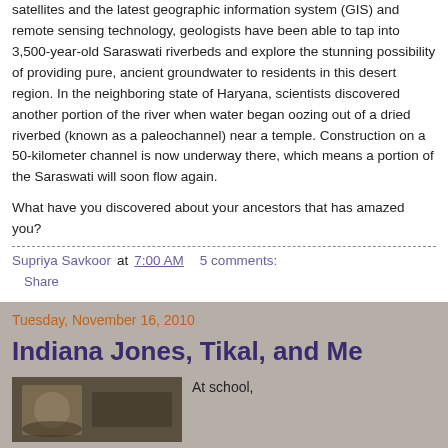Saraswati dried up, a vast desert. Using data from French and American satellites and the latest geographic information system (GIS) and remote sensing technology, geologists have been able to tap into 3,500-year-old Saraswati riverbeds and explore the stunning possibility of providing pure, ancient groundwater to residents in this desert region. In the neighboring state of Haryana, scientists discovered another portion of the river when water began oozing out of a dried riverbed (known as a paleochannel) near a temple. Construction on a 50-kilometer channel is now underway there, which means a portion of the Saraswati will soon flow again.
What have you discovered about your ancestors that has amazed you?
Supriya Savkoor at 7:00 AM   5 comments:
Share
Tuesday, November 16, 2010
Indiana Jones, Tikal, and Me
[Figure (photo): Thumbnail photo at bottom left]
At school,